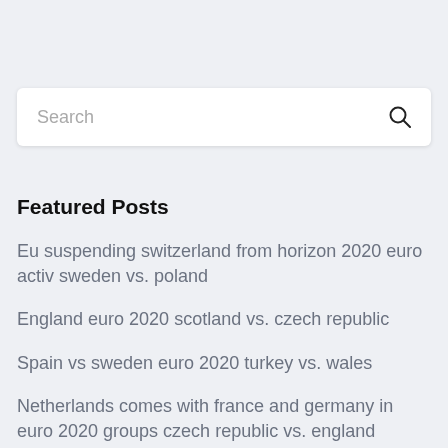Search
Featured Posts
Eu suspending switzerland from horizon 2020 euro activ sweden vs. poland
England euro 2020 scotland vs. czech republic
Spain vs sweden euro 2020 turkey vs. wales
Netherlands comes with france and germany in euro 2020 groups czech republic vs. england
Handball 2020 euro men spain vs. poland